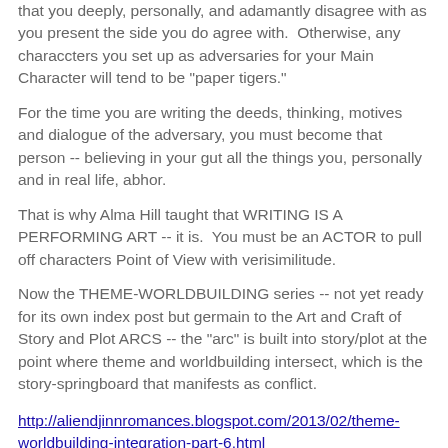that you deeply, personally, and adamantly disagree with as you present the side you do agree with.  Otherwise, any characcters you set up as adversaries for your Main Character will tend to be "paper tigers."
For the time you are writing the deeds, thinking, motives and dialogue of the adversary, you must become that person -- believing in your gut all the things you, personally and in real life, abhor.
That is why Alma Hill taught that WRITING IS A PERFORMING ART -- it is.  You must be an ACTOR to pull off characters Point of View with verisimilitude.
Now the THEME-WORLDBUILDING series -- not yet ready for its own index post but germain to the Art and Craft of Story and Plot ARCS -- the "arc" is built into story/plot at the point where theme and worldbuilding intersect, which is the story-springboard that manifests as conflict.
http://aliendjinnromances.blogspot.com/2013/02/theme-worldbuilding-integration-part-6.html